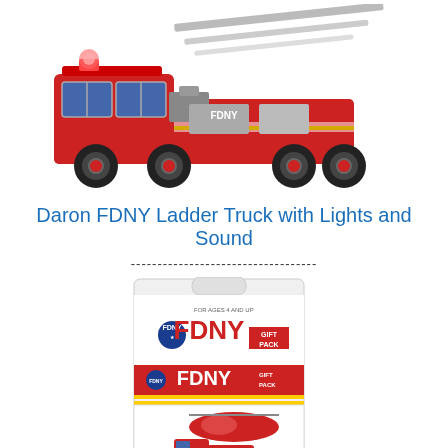[Figure (photo): A red FDNY ladder fire truck toy with lights and an extended aerial ladder on top, viewed from the side against a white background.]
Daron FDNY Ladder Truck with Lights and Sound
-----------------------------------
[Figure (photo): An FDNY Gift Pack product in retail blister packaging, showing three small die-cast FDNY vehicles: a red helicopter, a red pickup truck with equipment, and a white/red ladder truck at the bottom.]